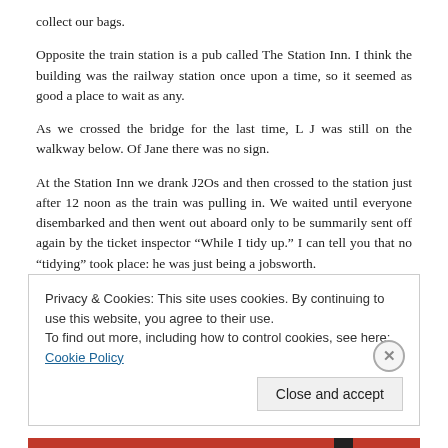collect our bags.
Opposite the train station is a pub called The Station Inn. I think the building was the railway station once upon a time, so it seemed as good a place to wait as any.
As we crossed the bridge for the last time, L J was still on the walkway below. Of Jane there was no sign.
At the Station Inn we drank J2Os and then crossed to the station just after 12 noon as the train was pulling in. We waited until everyone disembarked and then went out aboard only to be summarily sent off again by the ticket inspector “While I tidy up.” I can tell you that no “tidying” took place: he was just being a jobsworth.
We were eventually allowed aboard at about 12:20. Our journey is in 3 parts: Whitby to Middlesbrough, Middlesbrough to Darlington and Darlington to Kings Cross. We have seat reservations on the third train and not on the others. At Darlington we have only 10 minutes to make the change, including finding out which platform to go to and moving to it if necessary.
Privacy & Cookies: This site uses cookies. By continuing to use this website, you agree to their use.
To find out more, including how to control cookies, see here: Cookie Policy